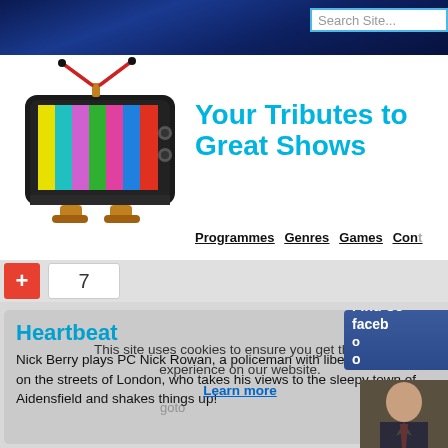Search Site...
[Figure (illustration): Cartoon TV set with color test bars on screen, antenna on top, orange/brown stand]
Your Tributes to Great Shows
Programmes   Genres   Games   Cont…
+ 7
Find Us facebook
Heartbeat
This site uses cookies to ensure you get the best experience on our website.
Learn more
Nick Berry plays PC Nick Rowan, a policeman with liberated values learnt on the streets of London, who takes his views to the sleepy town of Aidensfield and shakes things up!
[Figure (photo): Partial photo of a person in a suit, appears to be a man]